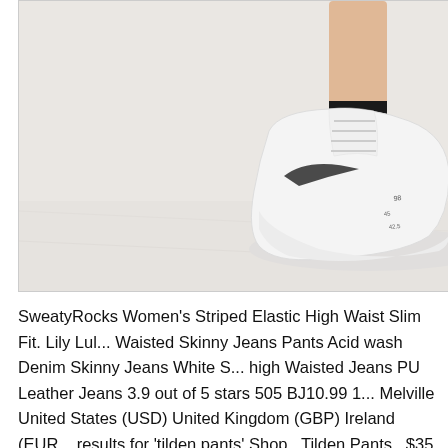[Figure (photo): Partial photo of a person's lower leg and foot wearing a white sneaker with a dark sock, against a light whitish-grey background.]
SweatyRocks Women's Striped Elastic High Waist Slim Fit. Lily Lul... Waisted Skinny Jeans Pants Acid wash Denim Skinny Jeans White S... high Waisted Jeans PU Leather Jeans 3.9 out of 5 stars 505 BJ10.99 1... Melville United States (USD) United Kingdom (GBP) Ireland (EUR... results for 'tilden pants' Shop . Tilden Pants . $35. Tilden Pants . $35. Pants . $35. Tilden Pants . $35. Tilden Pants . $35.